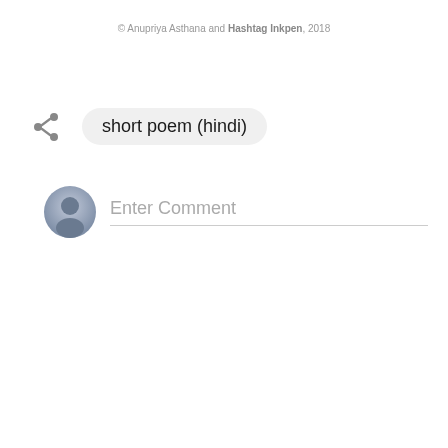© Anupriya Asthana and Hashtag Inkpen, 2018
short poem (hindi)
Enter Comment